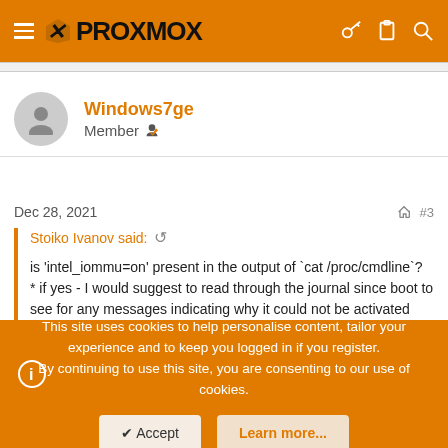PROXMOX
Windows7ge
Member
Dec 28, 2021  #3
Stoiko Ivanov said:
is 'intel_iommu=on' present in the output of `cat /proc/cmdline`?
* if yes - I would suggest to read through the journal since boot to see for any messages indicating why it could not be activated
This site uses cookies to help personalise content, tailor your experience and to keep you logged in if you register.
By continuing to use this site, you are consenting to our use of cookies.